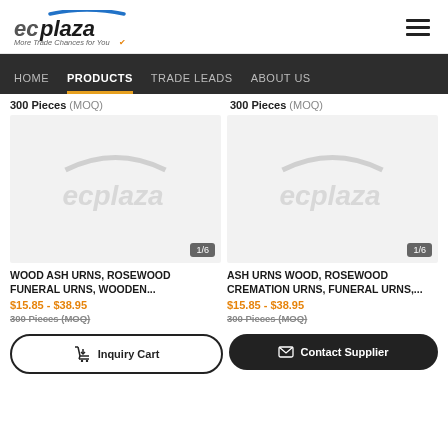[Figure (logo): ECPlaza logo with blue arc, italic text 'ecplaza' and tagline 'More Trade Chances for You']
HOME  PRODUCTS  TRADE LEADS  ABOUT US
300 Pieces (MOQ)   300 Pieces (MOQ)
[Figure (screenshot): Product image placeholder with ecplaza watermark, counter 1/6]
[Figure (screenshot): Product image placeholder with ecplaza watermark, counter 1/6]
WOOD ASH URNS, ROSEWOOD FUNERAL URNS, WOODEN...
ASH URNS WOOD, ROSEWOOD CREMATION URNS, FUNERAL URNS,...
$15.85 - $38.95
$15.85 - $38.95
300 Pieces (MOQ)
300 Pieces (MOQ)
Inquiry Cart
Contact Supplier